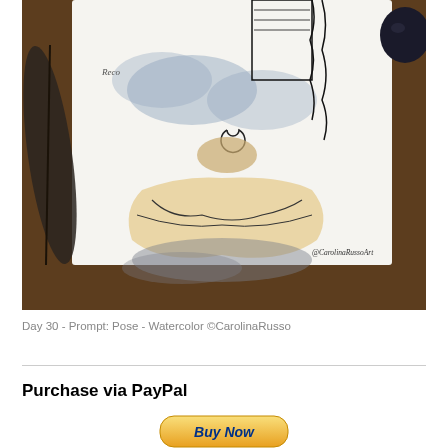[Figure (photo): A watercolor artwork by Carolina Russo showing a figure in a flowing pose with ink line work, blue-grey and warm beige watercolor washes, surrounded by a feather and dark stone on a wooden surface. Signed @CarolinaRussoArt.]
Day 30 - Prompt: Pose - Watercolor ©CarolinaRusso
Purchase via PayPal
[Figure (screenshot): A PayPal 'Buy Now' button — a rounded rectangular button with a yellow-gold gradient background and dark blue bold italic text reading 'Buy Now'.]